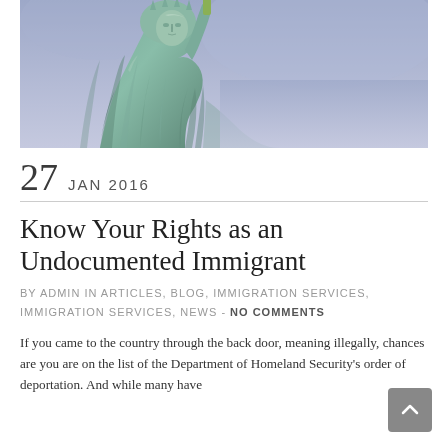[Figure (photo): Photograph of the Statue of Liberty, close-up on the face and raised arm with torch, against a blue-purple sky. The statue is green/teal colored.]
27   JAN 2016
Know Your Rights as an Undocumented Immigrant
BY ADMIN IN ARTICLES, BLOG, IMMIGRATION SERVICES, IMMIGRATION SERVICES, NEWS - NO COMMENTS
If you came to the country through the back door, meaning illegally, chances are you are on the list of the Department of Homeland Security's order of deportation. And while many have